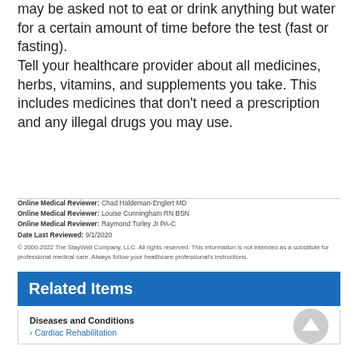may be asked not to eat or drink anything but water for a certain amount of time before the test (fast or fasting). Tell your healthcare provider about all medicines, herbs, vitamins, and supplements you take. This includes medicines that don't need a prescription and any illegal drugs you may use.
Online Medical Reviewer: Chad Haldeman-Englert MD
Online Medical Reviewer: Louise Cunningham RN BSN
Online Medical Reviewer: Raymond Turley Jr PA-C
Date Last Reviewed: 9/1/2020
© 2000-2022 The StayWell Company, LLC. All rights reserved. This information is not intended as a substitute for professional medical care. Always follow your healthcare professional's instructions.
Related Items
Diseases and Conditions
Cardiac Rehabilitation